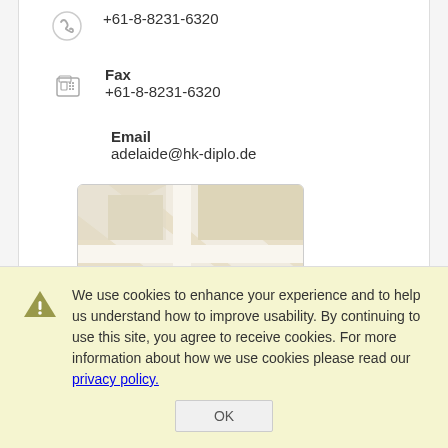+61-8-8231-6320
Fax
+61-8-8231-6320
Email
adelaide@hk-diplo.de
[Figure (map): Street map showing location marker in Adelaide area]
We use cookies to enhance your experience and to help us understand how to improve usability. By continuing to use this site, you agree to receive cookies. For more information about how we use cookies please read our privacy policy.